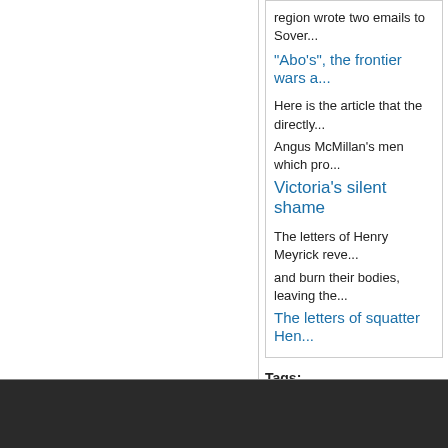region wrote two emails to Sover...
"Abo's", the frontier wars a...
Here is the article that the directly...
Angus McMillan's men which pro...
Victoria's silent shame
The letters of Henry Meyrick reve...
and burn their bodies, leaving the...
The letters of squatter Hen...
Tags:
History   During-invasion   Massacre...
Recommend 2.4K